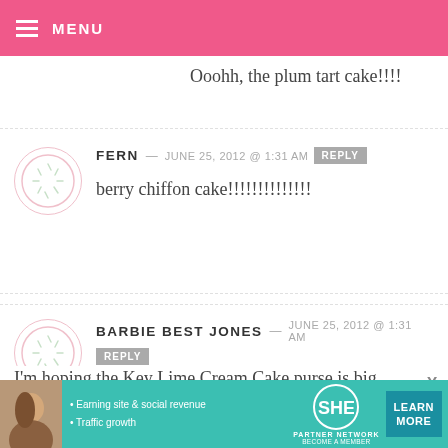MENU
Ooohh, the plum tart cake!!!!
FERN — JUNE 25, 2012 @ 1:31 AM  REPLY
berry chiffon cake!!!!!!!!!!!!!
BARBIE BEST JONES — JUNE 25, 2012 @ 1:31 AM  REPLY
I'm hoping the Key Lime Cream Cake purse is big enough to hide your
[Figure (infographic): SHE Partner Network advertisement banner with woman photo, bullet points about earning site and social revenue and traffic growth, SHE logo, and Learn More button]